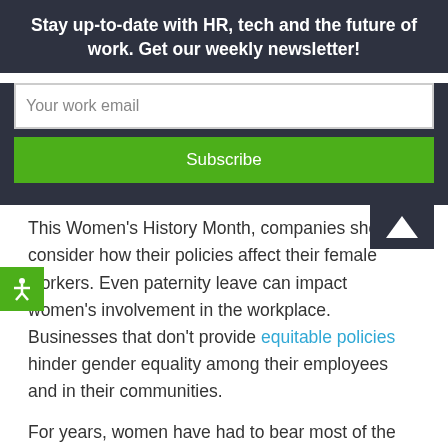Stay up-to-date with HR, tech and the future of work. Get our weekly newsletter!
Your work email
Subscribe
This Women's History Month, companies should consider how their policies affect their female workers. Even paternity leave can impact women’s involvement in the workplace. Businesses that don’t provide equitable policies hinder gender equality among their employees and in their communities.
For years, women have had to bear most of the burden of child-rearing, limiting their professional careers. Equitable policies like paid leave for all parents lighten this burden, enabling women to achieve their full professional potential. The U.S. has made some